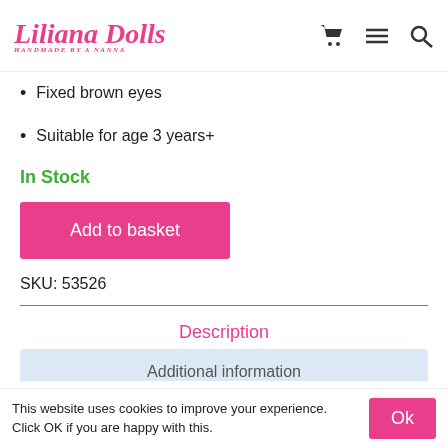Liliana Dolls
Fixed brown eyes
Suitable for age 3 years+
In Stock
Add to basket
SKU: 53526
Description
Additional information
This website uses cookies to improve your experience. Click OK if you are happy with this.